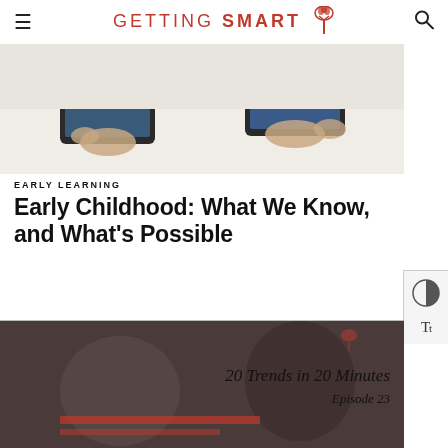GETTING SMART
[Figure (photo): Two children using tablet devices on a white table, hands visible holding the tablets]
EARLY LEARNING
Early Childhood: What We Know, and What's Possible
[Figure (screenshot): Video thumbnail showing two people in conversation, with text overlay '20 Trends in 20 Minutes Episode 23' and a tree logo]